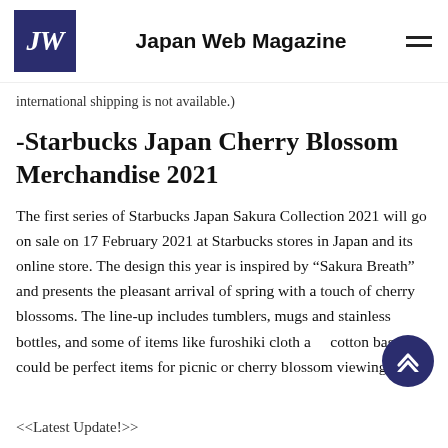Japan Web Magazine
international shipping is not available.)
-Starbucks Japan Cherry Blossom Merchandise 2021
The first series of Starbucks Japan Sakura Collection 2021 will go on sale on 17 February 2021 at Starbucks stores in Japan and its online store. The design this year is inspired by “Sakura Breath” and presents the pleasant arrival of spring with a touch of cherry blossoms. The line-up includes tumblers, mugs and stainless bottles, and some of items like furoshiki cloth and cotton bag could be perfect items for picnic or cherry blossom viewing.
<<Latest Update!>>